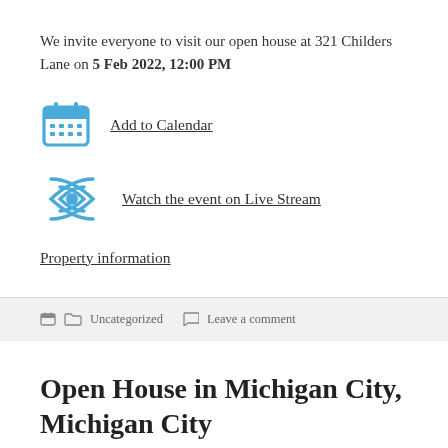We invite everyone to visit our open house at 321 Childers Lane on 5 Feb 2022, 12:00 PM
Add to Calendar
Watch the event on Live Stream
Property information
Uncategorized  Leave a comment
Open House in Michigan City, Michigan City